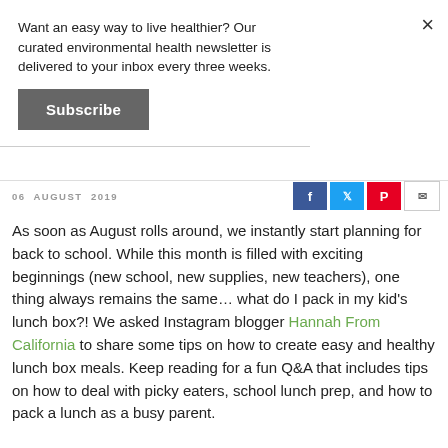Want an easy way to live healthier? Our curated environmental health newsletter is delivered to your inbox every three weeks.
Subscribe
06 AUGUST 2019
As soon as August rolls around, we instantly start planning for back to school. While this month is filled with exciting beginnings (new school, new supplies, new teachers), one thing always remains the same… what do I pack in my kid's lunch box?! We asked Instagram blogger Hannah From California to share some tips on how to create easy and healthy lunch box meals. Keep reading for a fun Q&A that includes tips on how to deal with picky eaters, school lunch prep, and how to pack a lunch as a busy parent.